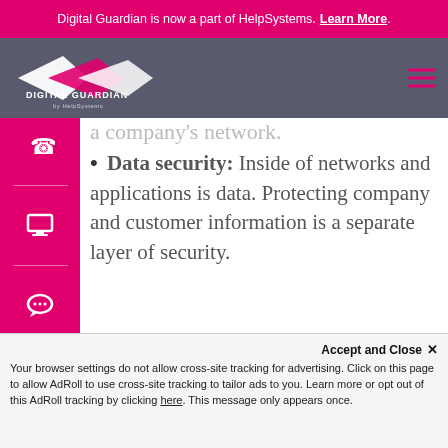Digital Guardian is now a part of HelpSystems. Learn More.
[Figure (logo): Digital Guardian by HelpSystems logo on dark gray navigation bar with hamburger menu]
a company's network.
Data security: Inside of networks and applications is data. Protecting company and customer information is a separate layer of security.
Identity management: Essentially, this is a process of understanding the access every individual has in an organization.
Database and infrastructure security:
Controlling that network infrastructure...
Accept and Close X
Your browser settings do not allow cross-site tracking for advertising. Click on this page to allow AdRoll to use cross-site tracking to tailor ads to you. Learn more or opt out of this AdRoll tracking by clicking here. This message only appears once.